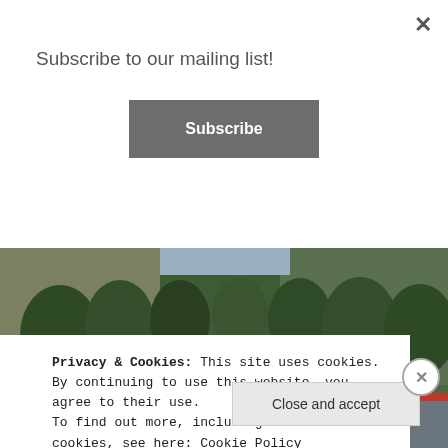Subscribe to our mailing list!
Subscribe
[Figure (photo): Exterior photo of Neptune's Net restaurant with motorcycles parked in the foreground and green hills in the background. A large sign reads 'Neptune's NET'.]
Privacy & Cookies: This site uses cookies. By continuing to use this website, you agree to their use.
To find out more, including how to control cookies, see here: Cookie Policy
Close and accept